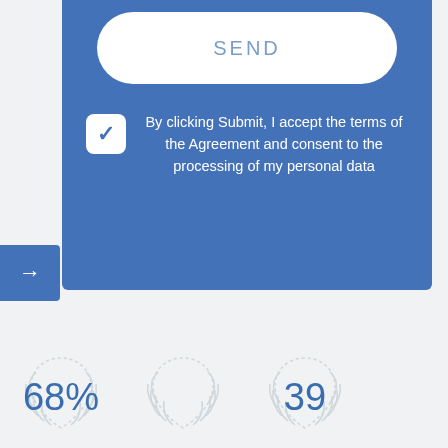[Figure (screenshot): Blue form card with SEND button and consent checkbox with text 'By clicking Submit, I accept the terms of the Agreement and consent to the processing of my personal data']
By clicking Submit, I accept the terms of the Agreement and consent to the processing of my personal data
[Figure (infographic): Row of laurel wreath badge icons with statistics: 68% and 39 visible at bottom of page]